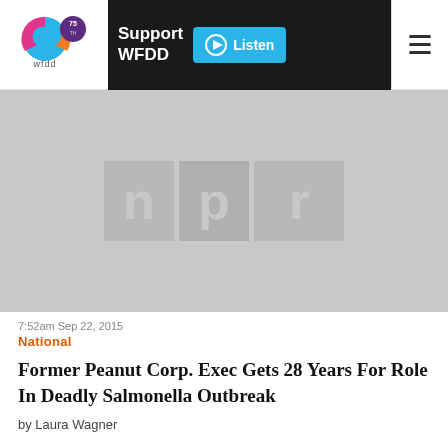[Figure (logo): WFDD 75th anniversary logo with colorful circular swirl and 'wfdd' text below]
[Figure (screenshot): NPR placeholder image (grey background with NPR logo watermark)]
7:52am Sep 22, 2015
National
Former Peanut Corp. Exec Gets 28 Years For Role In Deadly Salmonella Outbreak
by Laura Wagner